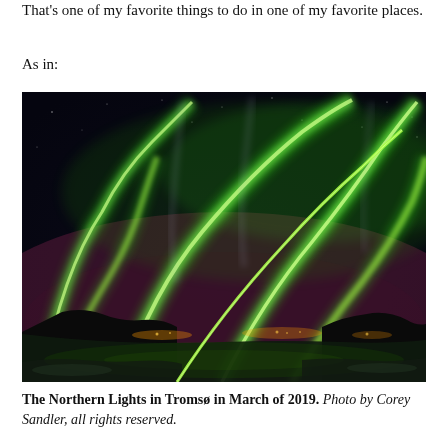That's one of my favorite things to do in one of my favorite places.
As in:
[Figure (photo): Aurora borealis (Northern Lights) over a snowy landscape in Tromsø, Norway. Vivid green and magenta curtains of light swirl across a dark night sky above snow-covered hills and a reflective body of water with distant city lights on the horizon.]
The Northern Lights in Tromsø in March of 2019. Photo by Corey Sandler, all rights reserved.